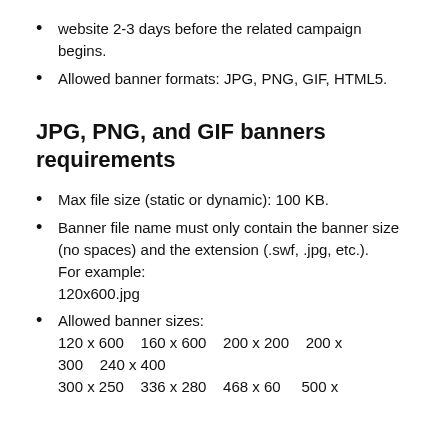website 2-3 days before the related campaign begins.
Allowed banner formats: JPG, PNG, GIF, HTML5.
JPG, PNG, and GIF banners requirements
Max file size (static or dynamic): 100 KB.
Banner file name must only contain the banner size (no spaces) and the extension (.swf, .jpg, etc.).
For example:
120x600.jpg
Allowed banner sizes:
120 x 600    160 x 600    200 x 200    200 x 300    240 x 400
300 x 250    336 x 280    468 x 60    500 x